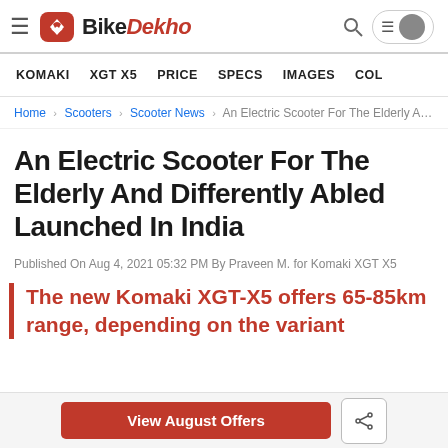BikeDekho
KOMAKI   XGT X5   PRICE   SPECS   IMAGES   COLO
Home > Scooters > Scooter News > An Electric Scooter For The Elderly And Dif...
An Electric Scooter For The Elderly And Differently Abled Launched In India
Published On Aug 4, 2021 05:32 PM By Praveen M. for Komaki XGT X5
The new Komaki XGT-X5 offers 65-85km range, depending on the variant
View August Offers